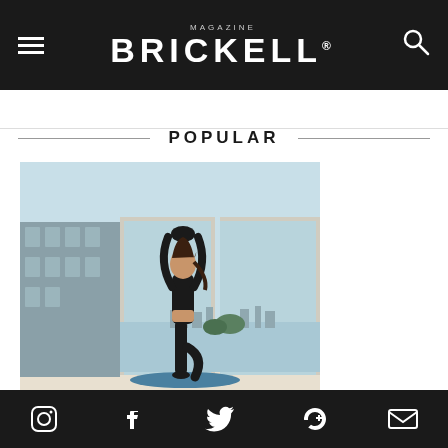MAGAZINE BRICKELL®
POPULAR
[Figure (photo): Woman in black athletic wear performing a yoga tree pose on a blue mat in front of large floor-to-ceiling windows with a city skyline and waterfront view]
Fitness First
If a healthier lifestyle is on your horizon, get inspired with a group of
Social icons: Instagram, Facebook, Twitter, Google+, Email